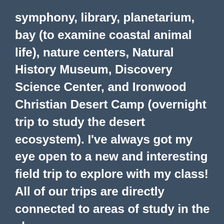symphony, library, planetarium, bay (to examine coastal animal life), nature centers, Natural History Museum, Discovery Science Center, and Ironwood Christian Desert Camp (overnight trip to study the desert ecosystem). I've always got my eye open to a new and interesting field trip to explore with my class! All of our trips are directly connected to areas of study in the classroom.
Every other year my third graders perform in a musical called "Vacation on Mars". Every production has been a "star" performance, if I do say so myself!